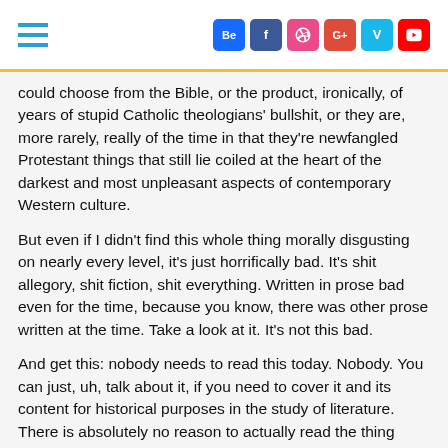Social media icons: Behance, Facebook, Dribbble, Google+, Vine, YouTube; Hamburger menu
could choose from the Bible, or the product, ironically, of years of stupid Catholic theologians' bullshit, or they are, more rarely, really of the time in that they're newfangled Protestant things that still lie coiled at the heart of the darkest and most unpleasant aspects of contemporary Western culture.
But even if I didn't find this whole thing morally disgusting on nearly every level, it's just horrifically bad. It's shit allegory, shit fiction, shit everything. Written in prose bad even for the time, because you know, there was other prose written at the time. Take a look at it. It's not this bad.
And get this: nobody needs to read this today. Nobody. You can just, uh, talk about it, if you need to cover it and its content for historical purposes in the study of literature. There is absolutely no reason to actually read the thing because it has absolutely zero literary quality, or relevance, or importance. Here's everything you need to know about The Pilgrim's Progress, or Christianity Dummies: it's real stupid, anything in it that's remotely interesting